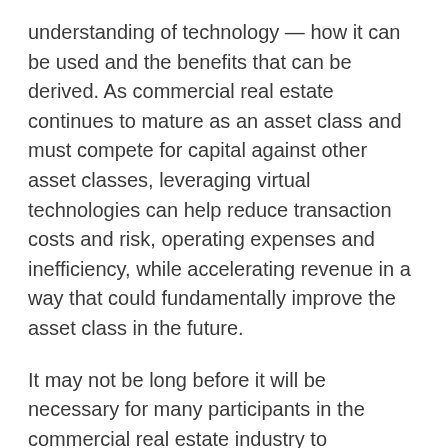understanding of technology — how it can be used and the benefits that can be derived. As commercial real estate continues to mature as an asset class and must compete for capital against other asset classes, leveraging virtual technologies can help reduce transaction costs and risk, operating expenses and inefficiency, while accelerating revenue in a way that could fundamentally improve the asset class in the future.
It may not be long before it will be necessary for many participants in the commercial real estate industry to incorporate VR into their business strategy to remain competitive. Why would any owner want to wait a week or two to have a physical test fit done for a tenant if their competitor is using VR to do them instantly on-site or over the web, and compete with the competition to attract the